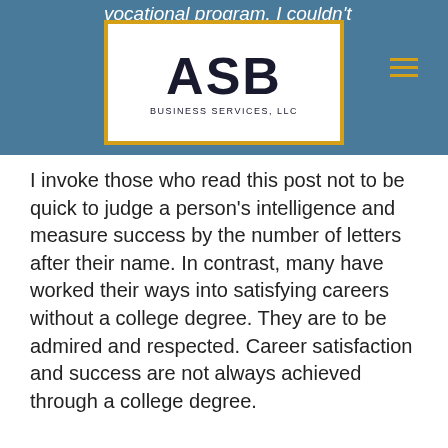vocational program. I couldn't make it
[Figure (logo): ASB Business Services, LLC logo — black bold lettering 'ASB' with gold border, 'BUSINESS SERVICES, LLC' below in small caps]
I invoke those who read this post not to be quick to judge a person's intelligence and measure success by the number of letters after their name. In contrast, many have worked their ways into satisfying careers without a college degree. They are to be admired and respected. Career satisfaction and success are not always achieved through a college degree.
In comparison, I ask you to be encouraging and understanding of those who are earnestly seeking college success later in